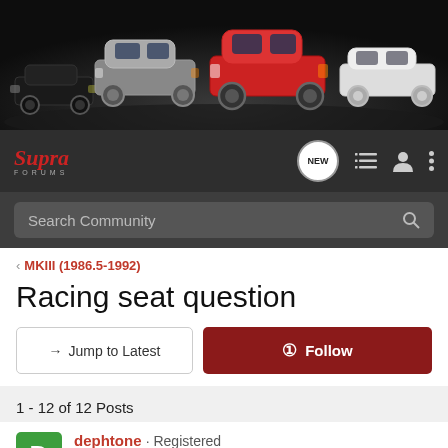[Figure (photo): Banner image of multiple Toyota Supra generations lined up against a dark background]
[Figure (logo): Supra Forums logo in red italic script with 'FORUMS' text below]
Search Community
< MKIII (1986.5-1992)
Racing seat question
→ Jump to Latest
+ Follow
1 - 12 of 12 Posts
dephtone · Registered
Joined Nov 11, 2003 · 150 Posts